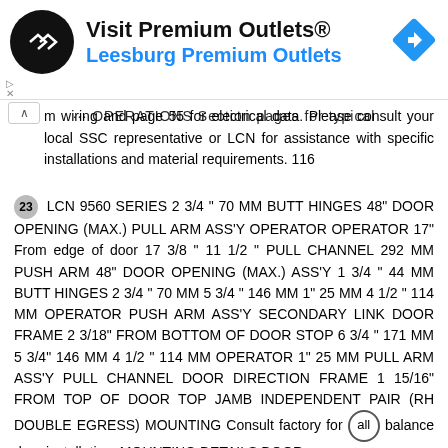[Figure (other): Advertisement banner: Visit Premium Outlets® Leesburg Premium Outlets with logo and navigation arrow icon]
...OPERATIONS Section pages for typical system wiring and page 55 for electrical data. Please consult your local SSC representative or LCN for assistance with specific installations and material requirements. 116
23 LCN 9560 SERIES 2 3/4 " 70 MM BUTT HINGES 48" DOOR OPENING (MAX.) PULL ARM ASS'Y OPERATOR OPERATOR 17" From edge of door 17 3/8 " 11 1/2 " PULL CHANNEL 292 MM PUSH ARM 48" DOOR OPENING (MAX.) ASS'Y 1 3/4 " 44 MM BUTT HINGES 2 3/4 " 70 MM 5 3/4 " 146 MM 1" 25 MM 4 1/2 " 114 MM OPERATOR PUSH ARM ASS'Y SECONDARY LINK DOOR FRAME 2 3/18" FROM BOTTOM OF DOOR STOP 6 3/4 " 171 MM 5 3/4" 146 MM 4 1/2 " 114 MM OPERATOR 1" 25 MM PULL ARM ASS'Y PULL CHANNEL DOOR DIRECTION FRAME 1 15/16" FROM TOP OF DOOR TOP JAMB INDEPENDENT PAIR (RH DOUBLE EGRESS) MOUNTING Consult factory for all balance door installation. MOUNTING DETAILS DOOR